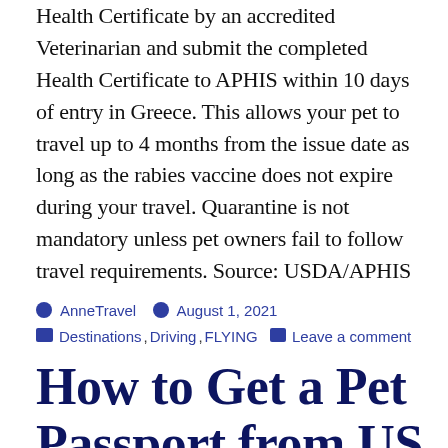Health Certificate by an accredited Veterinarian and submit the completed Health Certificate to APHIS within 10 days of entry in Greece. This allows your pet to travel up to 4 months from the issue date as long as the rabies vaccine does not expire during your travel. Quarantine is not mandatory unless pet owners fail to follow travel requirements. Source: USDA/APHIS
By AnneTravel | August 1, 2021 | Destinations, Driving, FLYING | Leave a comment
How to Get a Pet Passport from US to